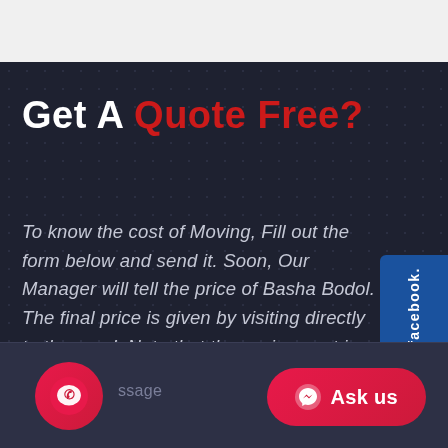Get A Quote Free?
To know the cost of Moving, Fill out the form below and send it. Soon, Our Manager will tell the price of Basha Bodol. The final price is given by visiting directly to the need. Note that the assignment is completely free.
[Figure (screenshot): Dark themed webpage section with title 'Get A Quote Free?' and descriptive text, with a Facebook side tab, WhatsApp button at bottom left, message input area, and 'Ask us' Messenger button at bottom right]